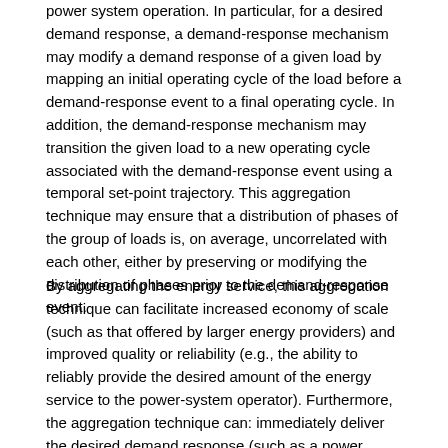power system operation. In particular, for a desired demand response, a demand-response mechanism may modify a demand response of a given load by mapping an initial operating cycle of the load before a demand-response event to a final operating cycle. In addition, the demand-response mechanism may transition the given load to a new operating cycle associated with the demand-response event using a temporal set-point trajectory. This aggregation technique may ensure that a distribution of phases of the group of loads is, on average, uncorrelated with each other, either by preserving or modifying the distribution of phases prior to the demand-response event.
By aggregating the energy service, this aggregation technique can facilitate increased economy of scale (such as that offered by larger energy providers) and improved quality or reliability (e.g., the ability to reliably provide the desired amount of the energy service to the power-system operator). Furthermore, the aggregation technique can: immediately deliver the desired demand response (such as a power reduction) with a probability and expectation value equal to that associated with the demand-response event (i.e., the requested demand response), which, when aggregated over multiple loads at diverse phases, provides